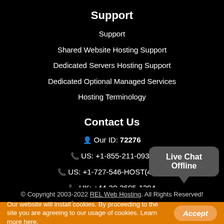Support
Support
Shared Website Hosting Support
Dedicated Servers Hosting Support
Dedicated Optional Managed Services
Hosting Terminology
Contact Us
Our ID: 72276
US: +1-855-211-0932
US: +1-727-546-HOST(4678)
UK: +44-20-3695-1294
AU: +61-2-8417-2372
Live Chat Offline
© Copyright 2003-2022 REL Web Hosting. All Rights Reserved!
Our website will install cookies. By proceeding to the site you are agreeing to our usage of cookies. Learn more here.